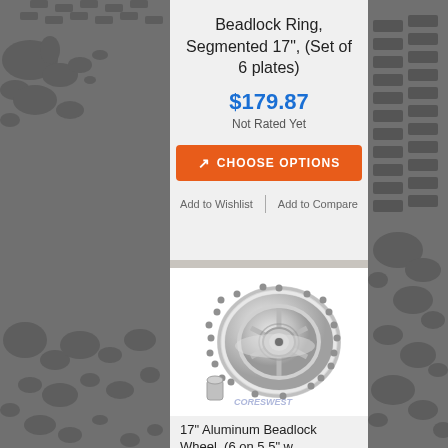Beadlock Ring, Segmented 17", (Set of 6 plates)
$179.87
Not Rated Yet
CHOOSE OPTIONS
Add to Wishlist
Add to Compare
[Figure (photo): Chrome beadlock wheel with beadlock ring visible, along with a small cap accessory, watermarked with CoresWest logo]
17" Aluminum Beadlock Wheel, (6 on 5.5" w